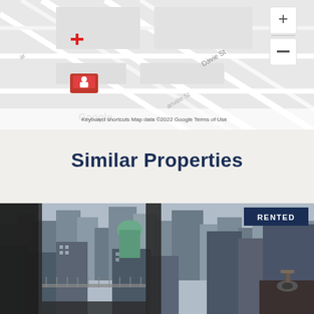[Figure (map): Google Maps screenshot showing street map with Davie St, Nelson St visible, with map controls (zoom in/out), a location pin marker, and Google branding. Footer shows 'Keyboard shortcuts', 'Map data ©2022 Google', 'Terms of Use'.]
Similar Properties
[Figure (photo): Interior photo of a high-rise apartment with floor-to-ceiling windows showing a city skyline view, kitchen sink visible in foreground. A 'RENTED' badge appears in the top right corner.]